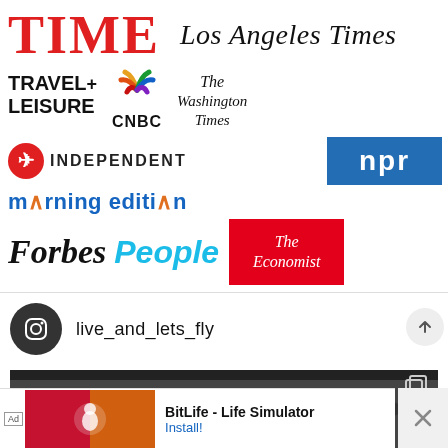[Figure (logo): Collection of media outlet logos: TIME, Los Angeles Times, Travel+Leisure, CNBC with peacock, The Washington Times, Independent, NPR, morning edition, Forbes, People, The Economist]
live_and_lets_fly
[Figure (screenshot): Partial image of what appears to be an airplane interior with BitLife ad overlay showing 'BitLife - Life Simulator' with Install button]